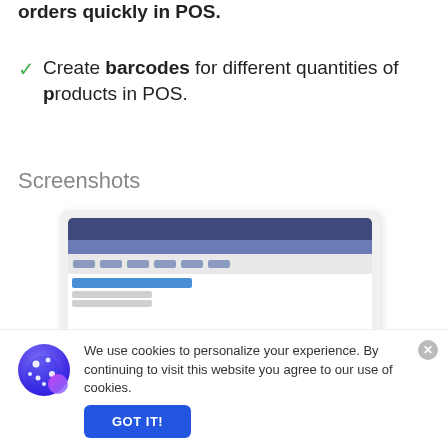orders quickly in POS.
Create barcodes for different quantities of products in POS.
Screenshots
[Figure (screenshot): Screenshot of a POS application interface showing a navigation bar, toolbar with icons, and a blue-highlighted row in a content area.]
Live Chat
We use cookies to personalize your experience. By continuing to visit this website you agree to our use of cookies.